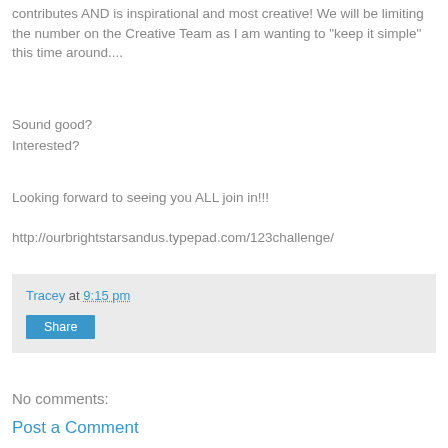contributes AND is inspirational and most creative! We will be limiting the number on the Creative Team as I am wanting to "keep it simple" this time around....
Sound good?
Interested?
Looking forward to seeing you ALL join in!!!
http://ourbrightstarsandus.typepad.com/123challenge/
Tracey at 9:15 pm
Share
No comments:
Post a Comment